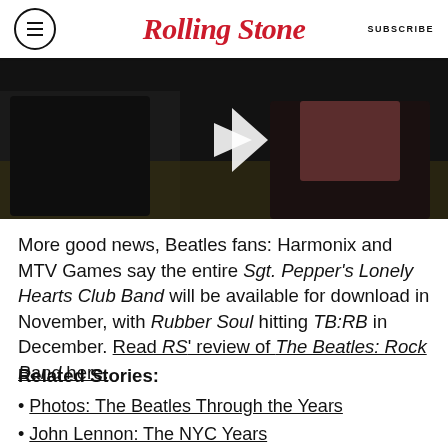RollingStone  SUBSCRIBE
[Figure (screenshot): Video thumbnail showing two people seated on a yellow couch in a dark room, with a white play button triangle overlay in the center.]
More good news, Beatles fans: Harmonix and MTV Games say the entire Sgt. Pepper's Lonely Hearts Club Band will be available for download in November, with Rubber Soul hitting TB:RB in December. Read RS' review of The Beatles: Rock Band here.
Related Stories:
Photos: The Beatles Through the Years
John Lennon: The NYC Years